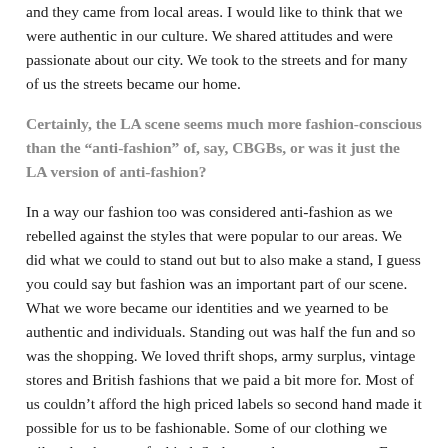and they came from local areas. I would like to think that we were authentic in our culture. We shared attitudes and were passionate about our city. We took to the streets and for many of us the streets became our home.
Certainly, the LA scene seems much more fashion-conscious than the “anti-fashion” of, say, CBGBs, or was it just the LA version of anti-fashion?
In a way our fashion too was considered anti-fashion as we rebelled against the styles that were popular to our areas. We did what we could to stand out but to also make a stand, I guess you could say but fashion was an important part of our scene. What we wore became our identities and we yearned to be authentic and individuals. Standing out was half the fun and so was the shopping. We loved thrift shops, army surplus, vintage stores and British fashions that we paid a bit more for. Most of us couldn’t afford the high priced labels so second hand made it possible for us to be fashionable. Some of our clothing we tailored to be one of a kind. Style was always a concern. From our hair to